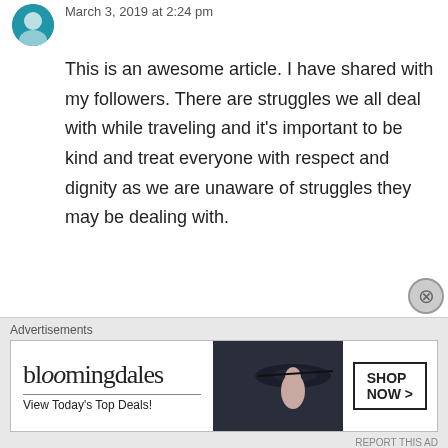March 3, 2019 at 2:24 pm
This is an awesome article. I have shared with my followers. There are struggles we all deal with while traveling and it's important to be kind and treat everyone with respect and dignity as we are unaware of struggles they may be dealing with.
Liked by 1 person
Reply
Advertisements
[Figure (other): Bloomingdale's advertisement banner with woman in hat, text 'View Today's Top Deals!' and 'SHOP NOW >' button]